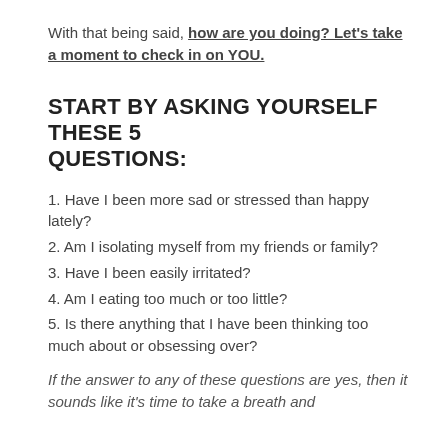With that being said, how are you doing? Let's take a moment to check in on YOU.
START BY ASKING YOURSELF THESE 5 QUESTIONS:
1. Have I been more sad or stressed than happy lately?
2. Am I isolating myself from my friends or family?
3. Have I been easily irritated?
4. Am I eating too much or too little?
5. Is there anything that I have been thinking too much about or obsessing over?
If the answer to any of these questions are yes, then it sounds like it's time to take a breath and